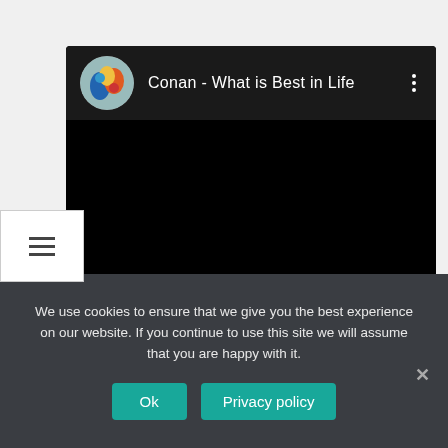[Figure (screenshot): A video player card with a dark header showing a colorful avatar, the title 'Conan - What is Best in Life', a three-dot menu button, and a black video content area below.]
We use cookies to ensure that we give you the best experience on our website. If you continue to use this site we will assume that you are happy with it.
Ok
Privacy policy